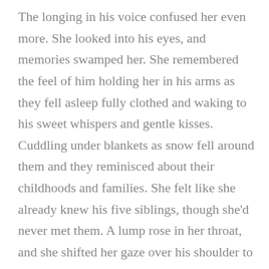The longing in his voice confused her even more. She looked into his eyes, and memories swamped her. She remembered the feel of him holding her in his arms as they fell asleep fully clothed and waking to his sweet whispers and gentle kisses. Cuddling under blankets as snow fell around them and they reminisced about their childhoods and families. She felt like she already knew his five siblings, though she'd never met them. A lump rose in her throat, and she shifted her gaze over his shoulder to try to regain control. Two female competitors were whispering and watching them. Her stomach knotted again. Why did the only guy she'd ever fallen for have to come